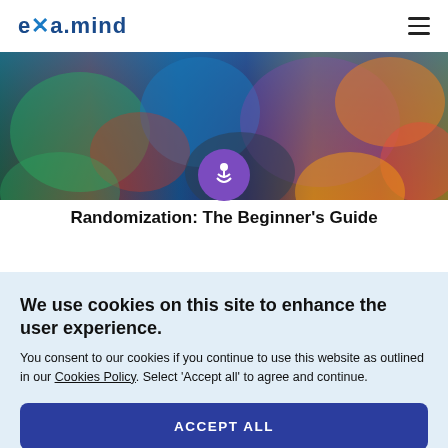EXAMIND
[Figure (photo): Colorful abstract photo used as article hero image with vibrant blues, reds, oranges and greens]
Randomization: The Beginner's Guide
We use cookies on this site to enhance the user experience.
You consent to our cookies if you continue to use this website as outlined in our Cookies Policy. Select 'Accept all' to agree and continue.
ACCEPT ALL